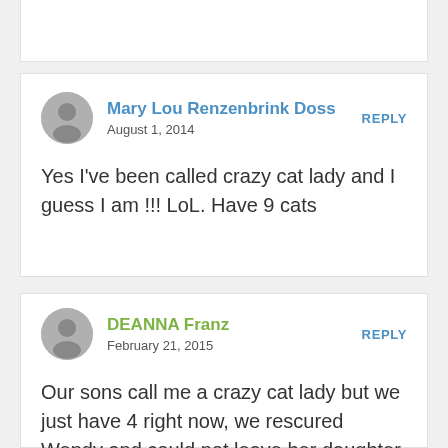Mary Lou Renzenbrink Doss
August 1, 2014
REPLY
Yes I've been called crazy cat lady and I guess I am !!! LoL. Have 9 cats
DEANNA Franz
February 21, 2015
REPLY
Our sons call me a crazy cat lady but we just have 4 right now, we rescured Wendy and could not leave her daughter outside as the